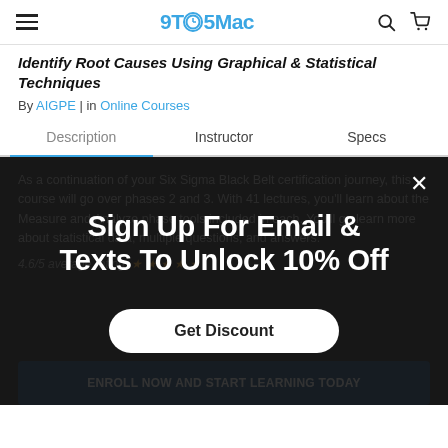9TO5Mac
Identify Root Causes Using Graphical & Statistical Techniques
By AIGPE | in Online Courses
Description | Instructor | Specs
As a continuation of your Six Sigma Black Belt certification journey, this course will go over phases 2 and 3. With 41 lectures, you'll learn about the Measure and Analyze phase tools included in each. You'll go learn more about statistical data, multiple questions, and answers.
4.6/5 average rating: ★★★★★
[Figure (screenshot): Sign Up For Email & Texts To Unlock 10% Off modal with Get Discount button]
[Figure (screenshot): Dark blue button at bottom of page]